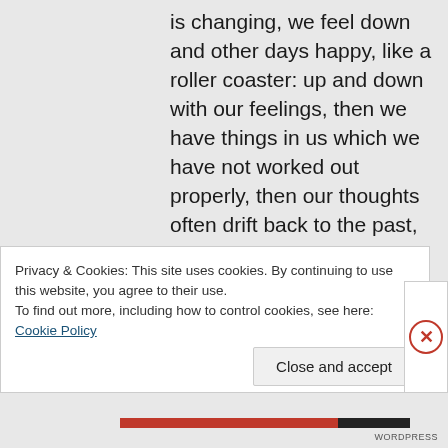is changing, we feel down and other days happy, like a roller coaster: up and down with our feelings, then we have things in us which we have not worked out properly, then our thoughts often drift back to the past, try to understand situations, rewind them again and again and feel sad and
Privacy & Cookies: This site uses cookies. By continuing to use this website, you agree to their use.
To find out more, including how to control cookies, see here: Cookie Policy
Close and accept